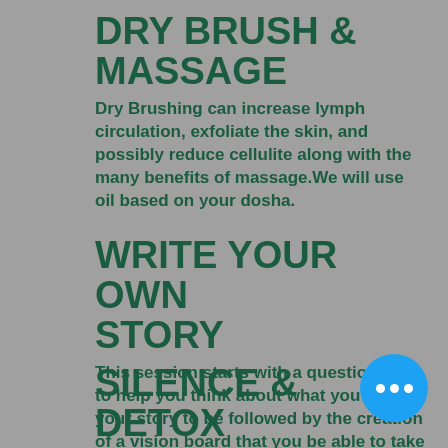DRY BRUSH & MASSAGE
Dry Brushing can increase lymph circulation, exfoliate the skin, and possibly reduce cellulite along with the many benefits of massage.We will use oil based on your dosha.
WRITE YOUR OWN STORY
This session starts with a questionnaire to help you think about what you want your story to be followed by the creation of a vision board that you be able to take with you.
SILENCE & DETOX